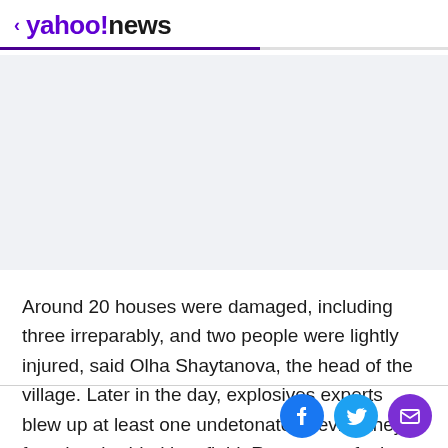< yahoo!news
[Figure (other): Advertisement placeholder area with light gray background]
Around 20 houses were damaged, including three irreparably, and two people were lightly injured, said Olha Shaytanova, the head of the village. Later in the day, explosives experts blew up at least one undetonated device they found embedded in a field. Remnants of other devices lay scattered in the village.